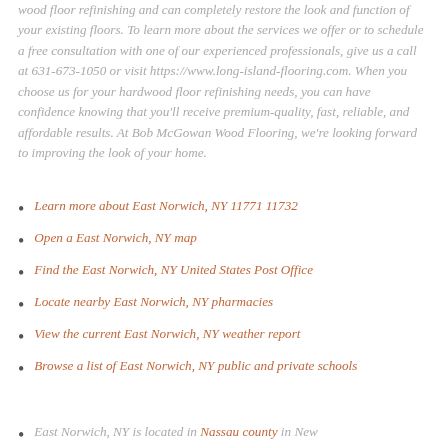wood floor refinishing and can completely restore the look and function of your existing floors. To learn more about the services we offer or to schedule a free consultation with one of our experienced professionals, give us a call at 631-673-1050 or visit https://www.long-island-flooring.com. When you choose us for your hardwood floor refinishing needs, you can have confidence knowing that you'll receive premium-quality, fast, reliable, and affordable results. At Bob McGowan Wood Flooring, we're looking forward to improving the look of your home.
Learn more about East Norwich, NY 11771 11732
Open a East Norwich, NY map
Find the East Norwich, NY United States Post Office
Locate nearby East Norwich, NY pharmacies
View the current East Norwich, NY weather report
Browse a list of East Norwich, NY public and private schools
East Norwich, NY is located in Nassau county in New